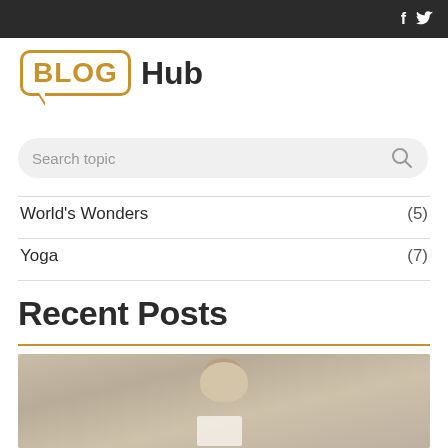f  𝐧 (social icons)
BLOG Hub
Search topic
World's Wonders (5)
Yoga (7)
Recent Posts
[Figure (photo): A person with a bun hairstyle reading a book or paper, viewed from behind, on a neutral/beige background]